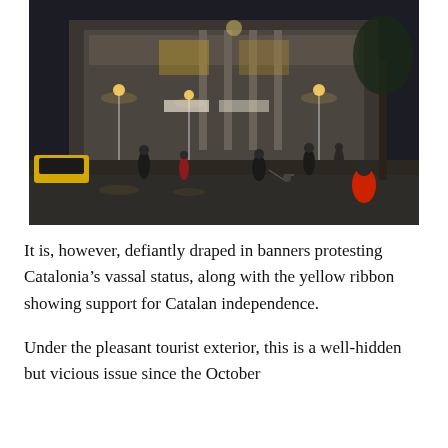[Figure (photo): Nighttime street scene in front of a large illuminated neoclassical building. People are walking across a wide plaza. Street lamps glow warmly. A yellow taxi is visible on the left. Some people carry banners. The scene appears to be Barcelona's Plaza de Sant Jaume or nearby area.]
It is, however, defiantly draped in banners protesting Catalonia's vassal status, along with the yellow ribbon showing support for Catalan independence.
Under the pleasant tourist exterior, this is a well-hidden but vicious issue since the October